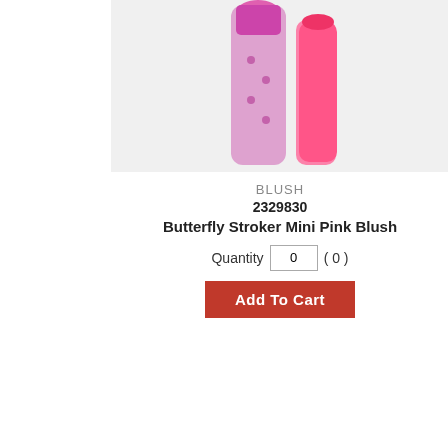[Figure (photo): Product image area showing pink adult toy products against light background (partially visible, cropped at top)]
BLUSH
2329830
Butterfly Stroker Mini Pink Blush
Quantity 0 ( 0 )
Add To Cart
[Figure (photo): No image available placeholder — gray box with camera icon and text NO IMAGE AVAILABLE]
BLUSH
2315100
Byours Dbl Penetrator-Pink
[Figure (photo): Partial view of Candy product packaging on the right side, blue/white packaging, partially cropped]
Candy